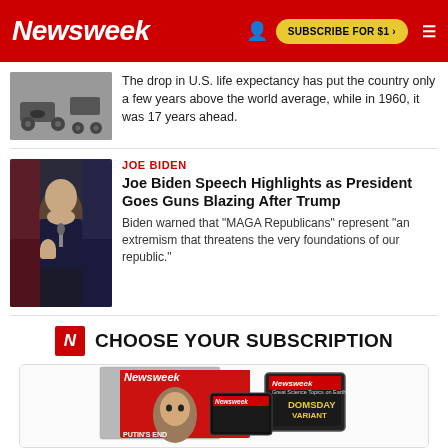Newsweek | SUBSCRIBE FOR $1 >
The drop in U.S. life expectancy has put the country only a few years above the world average, while in 1960, it was 17 years ahead.
JOE BIDEN
Joe Biden Speech Highlights as President Goes Guns Blazing After Trump
Biden warned that "MAGA Republicans" represent "an extremism that threatens the very foundations of our republic."
CHOOSE YOUR SUBSCRIPTION
[Figure (photo): Newsweek magazine subscription bundle showing print magazine covers and digital tablet version]